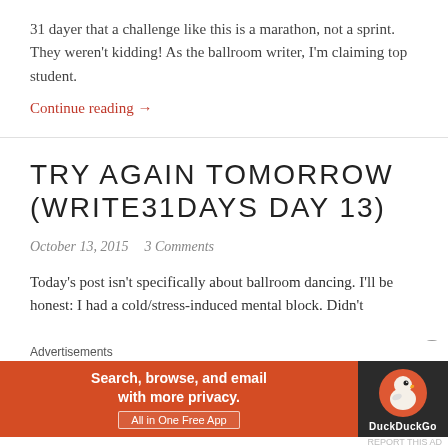31 dayer that a challenge like this is a marathon, not a sprint. They weren't kidding! As the ballroom writer, I'm claiming top student.
Continue reading →
TRY AGAIN TOMORROW (WRITE31DAYS DAY 13)
October 13, 2015   3 Comments
Today's post isn't specifically about ballroom dancing.  I'll be honest: I had a cold/stress-induced mental block.  Didn't
[Figure (screenshot): DuckDuckGo advertisement banner: orange section with text 'Search, browse, and email with more privacy. All in One Free App' and dark section with DuckDuckGo duck logo]